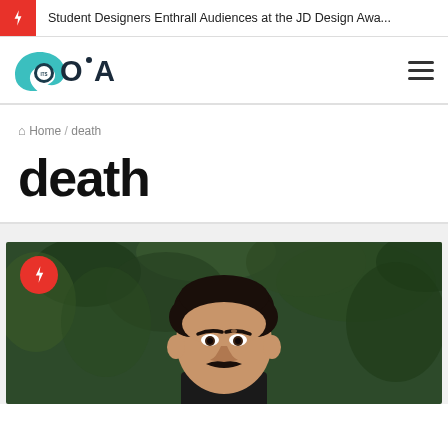Student Designers Enthrall Audiences at the JD Design Awa...
[Figure (logo): ItsGoa website logo with teal wave icon and ITS OA text]
Home / death
death
[Figure (photo): Photo of a man with dark curly hair and mustache against a green leafy background, with a red lightning bolt badge in the top left corner]